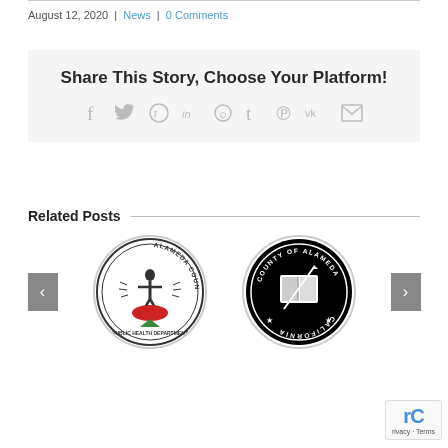August 12, 2020 | News | 0 Comments
Share This Story, Choose Your Platform!
[Figure (infographic): Social sharing icons: Facebook, Twitter, Reddit, LinkedIn, WhatsApp, Tumblr, Pinterest, VK, Email]
Related Posts
[Figure (logo): Alameda County Public Health Department circular seal logo]
[Figure (logo): County of Alameda California circular seal logo]